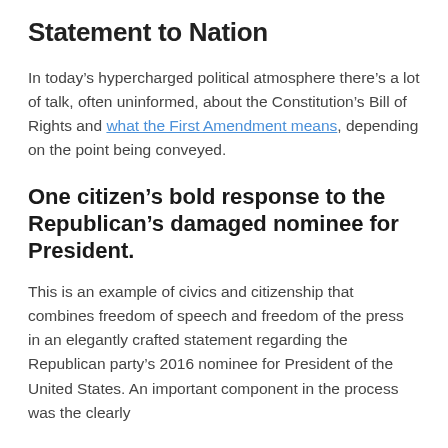Statement to Nation
In today’s hypercharged political atmosphere there’s a lot of talk, often uninformed, about the Constitution’s Bill of Rights and what the First Amendment means, depending on the point being conveyed.
One citizen’s bold response to the Republican’s damaged nominee for President.
This is an example of civics and citizenship that combines freedom of speech and freedom of the press in an elegantly crafted statement regarding the Republican party’s 2016 nominee for President of the United States. An important component in the process was the clearly